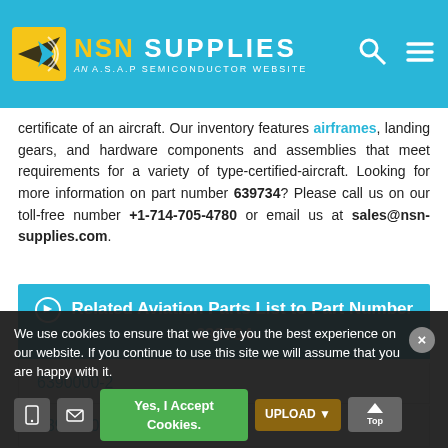NSN SUPPLIES — AN A.S.A.P SEMICONDUCTOR WEBSITE
certificate of an aircraft. Our inventory features airframes, landing gears, and hardware components and assemblies that meet requirements for a variety of type-certified-aircraft. Looking for more information on part number 639734? Please call us on our toll-free number +1-714-705-4780 or email us at sales@nsn-supplies.com.
Related Aviation Parts List to Part Number 639734
6390000-2
6390000-2
1390000
We use cookies to ensure that we give you the best experience on our website. If you continue to use this site we will assume that you are happy with it.